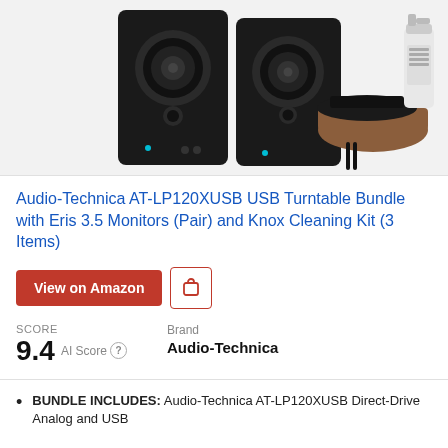[Figure (photo): Product image showing two black studio monitor speakers (PreSonus Eris 3.5) on the left, and a vinyl record cleaning kit with brown base, black brush, and spray bottle on the right, against a light gray background.]
Audio-Technica AT-LP120XUSB USB Turntable Bundle with Eris 3.5 Monitors (Pair) and Knox Cleaning Kit (3 Items)
View on Amazon
SCORE
9.4 AI Score
Brand
Audio-Technica
BUNDLE INCLUDES: Audio-Technica AT-LP120XUSB Direct-Drive Analog and USB